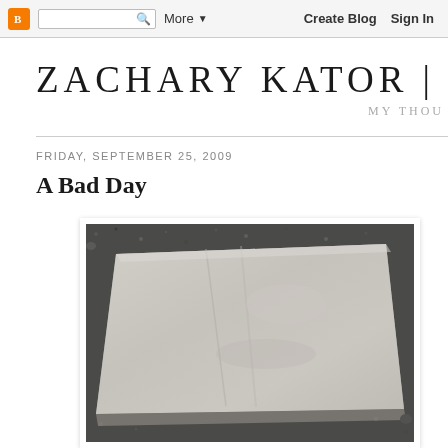Blogger | More ▼ | Create Blog | Sign In
ZACHARY KATOR | LIVING
MY THOU
FRIDAY, SEPTEMBER 25, 2009
A Bad Day
[Figure (photo): A flat concrete or stone slab resting on a dark granular surface, photographed from above at a slight angle. The slab appears light grey/beige with subtle streaks and marks on its surface.]